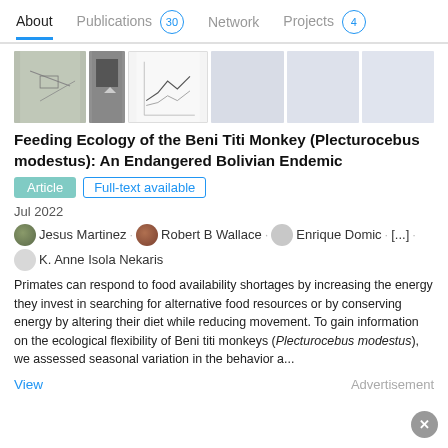About  Publications 30  Network  Projects 4
[Figure (screenshot): Row of article thumbnail images for the publication]
Feeding Ecology of the Beni Titi Monkey (Plecturocebus modestus): An Endangered Bolivian Endemic
Article  Full-text available
Jul 2022
Jesus Martinez · Robert B Wallace · Enrique Domic · [...] · K. Anne Isola Nekaris
Primates can respond to food availability shortages by increasing the energy they invest in searching for alternative food resources or by conserving energy by altering their diet while reducing movement. To gain information on the ecological flexibility of Beni titi monkeys (Plecturocebus modestus), we assessed seasonal variation in the behavior a...
View
Advertisement